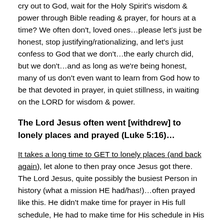cry out to God, wait for the Holy Spirit's wisdom & power through Bible reading & prayer, for hours at a time? We often don't, loved ones…please let's just be honest, stop justifying/rationalizing, and let's just confess to God that we don't…the early church did, but we don't…and as long as we're being honest, many of us don't even want to learn from God how to be that devoted in prayer, in quiet stillness, in waiting on the LORD for wisdom & power.
The Lord Jesus often went [withdrew] to lonely places and prayed (Luke 5:16)…
It takes a long time to GET to lonely places (and back again), let alone to then pray once Jesus got there. The Lord Jesus, quite possibly the busiest Person in history (what a mission HE had/has!)…often prayed like this. He didn't make time for prayer in His full schedule, He had to make time for His schedule in His full praying. Jesus had a